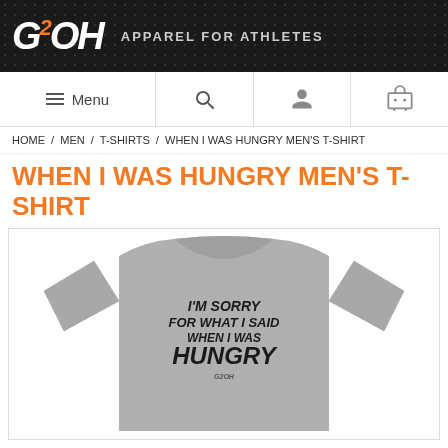[Figure (logo): G2OH Apparel for Athletes logo on dark textured background]
[Figure (screenshot): Navigation bar with Menu, Search, Account, and Cart icons]
HOME / MEN / T-SHIRTS / WHEN I WAS HUNGRY MEN'S T-SHIRT
WHEN I WAS HUNGRY MEN'S T-SHIRT
[Figure (photo): Gray t-shirt with text: I'M SORRY FOR WHAT I SAID WHEN I WAS HUNGRY with G2OH logo]